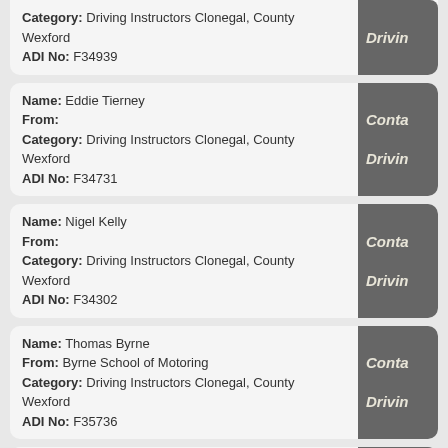Category: Driving Instructors Clonegal, County Wexford
ADI No: F34939
Name: Eddie Tierney
From:
Category: Driving Instructors Clonegal, County Wexford
ADI No: F34731
Name: Nigel Kelly
From:
Category: Driving Instructors Clonegal, County Wexford
ADI No: F34302
Name: Thomas Byrne
From: Byrne School of Motoring
Category: Driving Instructors Clonegal, County Wexford
ADI No: F35736
Name: Michael Smyth
From:
Category: Driving Instructors Clonegal, County Wexford